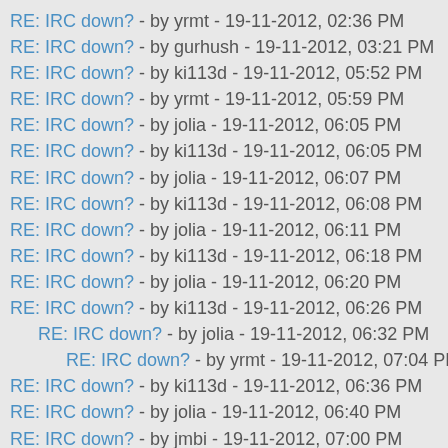RE: IRC down? - by yrmt - 19-11-2012, 02:36 PM
RE: IRC down? - by gurhush - 19-11-2012, 03:21 PM
RE: IRC down? - by ki113d - 19-11-2012, 05:52 PM
RE: IRC down? - by yrmt - 19-11-2012, 05:59 PM
RE: IRC down? - by jolia - 19-11-2012, 06:05 PM
RE: IRC down? - by ki113d - 19-11-2012, 06:05 PM
RE: IRC down? - by jolia - 19-11-2012, 06:07 PM
RE: IRC down? - by ki113d - 19-11-2012, 06:08 PM
RE: IRC down? - by jolia - 19-11-2012, 06:11 PM
RE: IRC down? - by ki113d - 19-11-2012, 06:18 PM
RE: IRC down? - by jolia - 19-11-2012, 06:20 PM
RE: IRC down? - by ki113d - 19-11-2012, 06:26 PM
RE: IRC down? - by jolia - 19-11-2012, 06:32 PM
RE: IRC down? - by yrmt - 19-11-2012, 07:04 PM
RE: IRC down? - by ki113d - 19-11-2012, 06:36 PM
RE: IRC down? - by jolia - 19-11-2012, 06:40 PM
RE: IRC down? - by jmbi - 19-11-2012, 07:00 PM
RE: IRC down? - by jolia - 20-11-2012, 07:25 AM
RE: IRC down? - by ki113d - 21-11-2012, 03:05 PM
RE: IRC down? - by vompatti - 21-11-2012, 03:12 PM